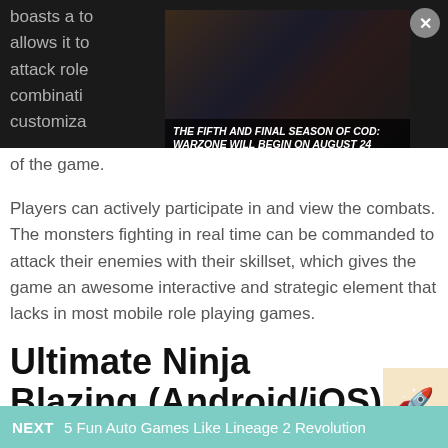boasts a to... allows it to... attack role... combination... customiza... system of the game.
[Figure (screenshot): Video ad overlay showing two men in a dark scene with text: THE FIFTH AND FINAL SEASON OF COD: WARZONE WILL BEGIN ON AUGUST 24]
Players can actively participate in and view the combats. The monsters fighting in real time can be commanded to attack their enemies with their skillset, which gives the game an awesome interactive and strategic element that lacks in most mobile role playing games.
Ultimate Ninja Blazing (Android/iOS)
NEXT  5 Fun Auto Games Like Lineage 2 Revolution